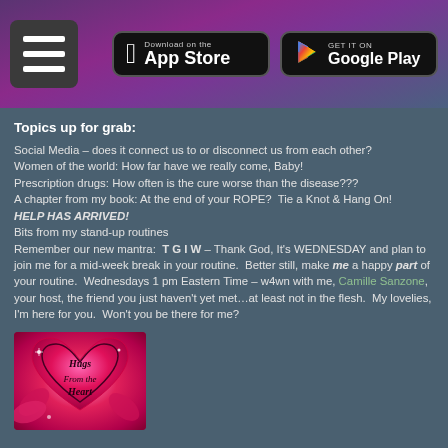Navigation menu, Download on the App Store, GET IT ON Google Play
Topics up for grab:
Social Media – does it connect us to or disconnect us from each other?
Women of the world: How far have we really come, Baby!
Prescription drugs: How often is the cure worse than the disease???
A chapter from my book: At the end of your ROPE? Tie a Knot & Hang On!
HELP HAS ARRIVED!
Bits from my stand-up routines
Remember our new mantra: T G I W – Thank God, It's WEDNESDAY and plan to join me for a mid-week break in your routine. Better still, make me a happy part of your routine. Wednesdays 1 pm Eastern Time – w4wn with me, Camille Sanzone, your host, the friend you just haven't yet met…at least not in the flesh. My lovelies, I'm here for you. Won't you be there for me?
[Figure (illustration): Pink heart image with text 'Hugs From the Heart' in decorative script, surrounded by pink flowers and sparkles]